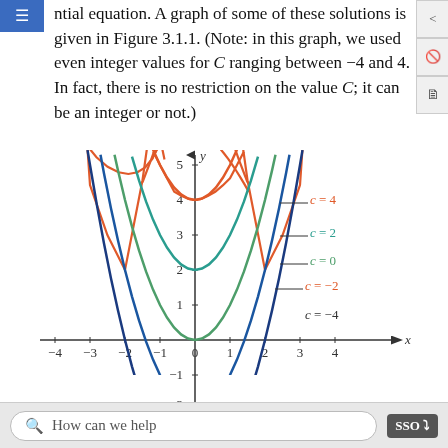ntial equation. A graph of some of these solutions is given in Figure 3.1.1. (Note: in this graph we used even integer values for C ranging between −4 and 4. In fact, there is no restriction on the value C; it can be an integer or not.)
[Figure (continuous-plot): Graph showing a family of parabolic curves y = x² + C for even integer values of C from −4 to 4. Five curves are shown in different colors (blue, teal, green, orange-red, orange) with labels c=4, c=2, c=0, c=−2, c=−4. Axes range from −4 to 4 on x-axis and −2 to 5 on y-axis.]